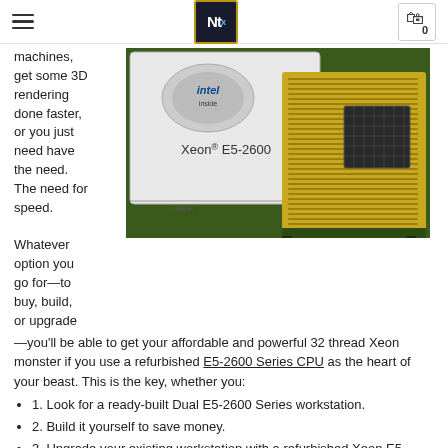Ntˣ logo, hamburger menu, cart (0)
machines, get some 3D rendering done faster, or you just need have the need. The need for speed.
[Figure (photo): Close-up photo of an Intel Xeon E5-2600 series processor showing the chip surface with the Intel logo, 'Xeon E5-2600' label, and the gold-colored pin grid array on the back.]
Whatever option you go for—to buy, build, or upgrade—you'll be able to get your affordable and powerful 32 thread Xeon monster if you use a refurbished E5-2600 Series CPU as the heart of your beast. This is the key, whether you:
1. Look for a ready-built Dual E5-2600 Series workstation.
2. Build it yourself to save money.
3. Upgrade your existing workstation with a refurbished Xeon E5-2600 Series CPU.
What's So Great About the Xeon E5-2600 Series